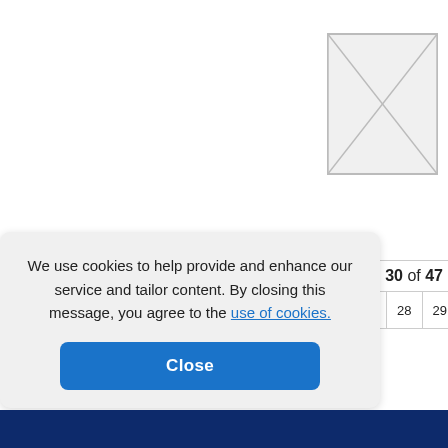[Figure (other): Image placeholder box with X diagonal lines indicating missing image]
Page 30 of 47
We use cookies to help provide and enhance our service and tailor content. By closing this message, you agree to the use of cookies.
Close